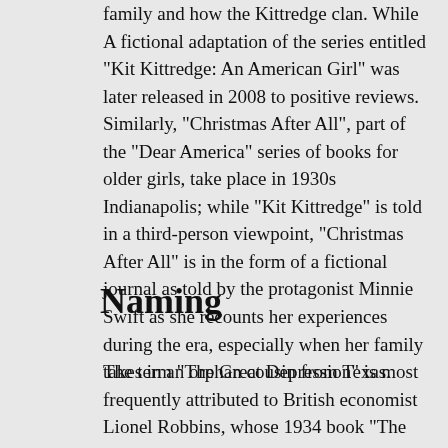family and how the Kittredge clan. While A fictional adaptation of the series entitled "Kit Kittredge: An American Girl" was later released in 2008 to positive reviews. Similarly, "Christmas After All", part of the "Dear America" series of books for older girls, take place in 1930s Indianapolis; while "Kit Kittredge" is told in a third-person viewpoint, "Christmas After All" is in the form of a fictional journal as told by the protagonist Minnie Swift as she recounts her experiences during the era, especially when her family takes in an orphan cousin from Texas.
Naming
The term "The Great Depression" is most frequently attributed to British economist Lionel Robbins, whose 1934 book "The Great Depression" is credited with formalizing the phrase, though Hoover is widely credited with popularizing the term, informally referring to the downturn as a depression, with such uses as